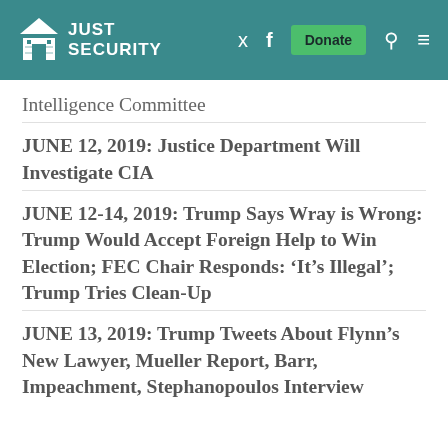JUST SECURITY
Intelligence Committee
JUNE 12, 2019: Justice Department Will Investigate CIA
JUNE 12-14, 2019: Trump Says Wray is Wrong: Trump Would Accept Foreign Help to Win Election; FEC Chair Responds: ‘It’s Illegal’; Trump Tries Clean-Up
JUNE 13, 2019: Trump Tweets About Flynn’s New Lawyer, Mueller Report, Barr, Impeachment, Stephanopoulos Interview